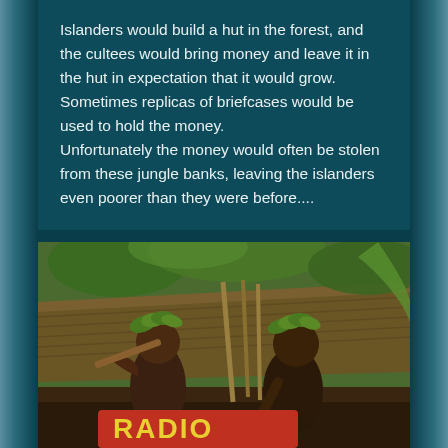Islanders would build a hut in the forest, and the cultees would bring money and leave it in the hut in expectation that it would grow.
Sometimes replicas of briefcases would be used to hold the money.
Unfortunately the money would often be stolen from these jungle banks, leaving the islanders even poorer than they were before....
[Figure (photo): Two men wearing leaf/plant crowns on their heads sit in front of a thatched hut structure. They appear shirtless with traditional dress. One holds what looks like a wooden object. A red object with partial text (possibly 'RADIO') is visible in the foreground. The setting is a jungle/forest environment.]